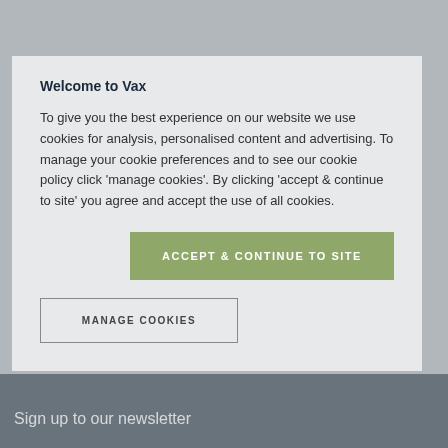Vax Window Washer Rotary Brush (Type 1)
£29.99
Out of stock
Welcome to Vax
To give you the best experience on our website we use cookies for analysis, personalised content and advertising. To manage your cookie preferences and to see our cookie policy click 'manage cookies'. By clicking 'accept & continue to site' you agree and accept the use of all cookies.
ACCEPT & CONTINUE TO SITE
MANAGE COOKIES
Sign up to our newsletter